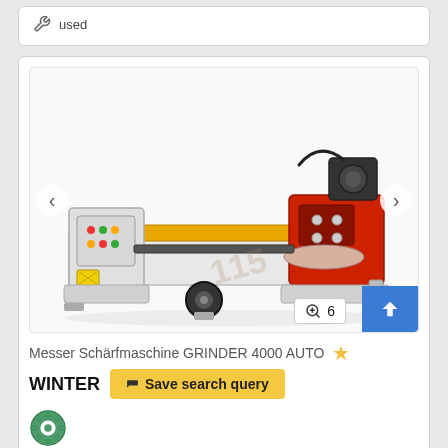used
[Figure (photo): Industrial knife sharpening machine GRINDER 4000 AUTO by WINTER. Large horizontal grinding machine with red and white body, yellow guide rails, control panel on the left, and grinding head on the right.]
Messer Schärfmaschine GRINDER 4000 AUTO
WINTER
Save search query